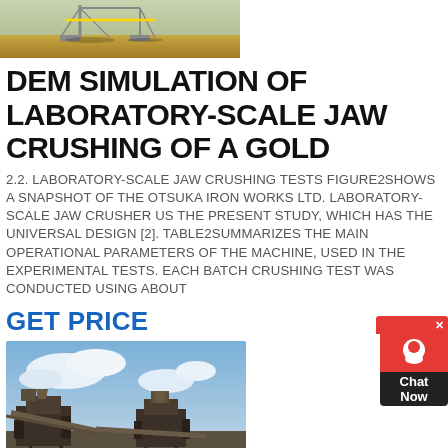[Figure (photo): Top image showing industrial crane or mining equipment against a sandy/earthy background]
DEM SIMULATION OF LABORATORY-SCALE JAW CRUSHING OF A GOLD
2.2. LABORATORY-SCALE JAW CRUSHING TESTS FIGURE2SHOWS A SNAPSHOT OF THE OTSUKA IRON WORKS LTD. LABORATORY-SCALE JAW CRUSHER US THE PRESENT STUDY, WHICH HAS THE UNIVERSAL DESIGN [2]. TABLE2SUMMARIZES THE MAIN OPERATIONAL PARAMETERS OF THE MACHINE, USED IN THE EXPERIMENTAL TESTS. EACH BATCH CRUSHING TEST WAS CONDUCTED USING ABOUT
GET PRICE
[Figure (photo): Bottom image showing large industrial crushing/mining equipment with conveyor belts against a cloudy sky]